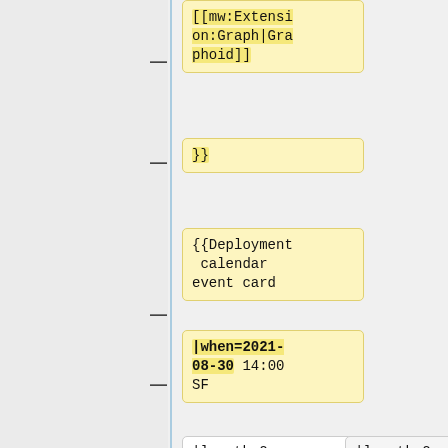[[mw:Extension:Graph|Graphoid]]
}}
{{Deployment calendar event card
|when=2021-08-30 14:00 SF
|length=2
|length=2
|window=Weekly Security deployment window
|window=Weekly Security deployment window